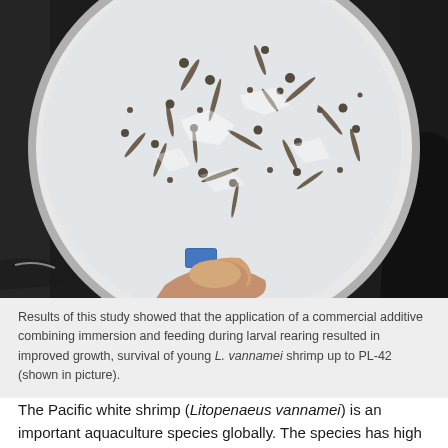[Figure (photo): Overhead photograph of a white bowl held by a hand, containing water and numerous young L. vannamei shrimp (postlarvae), against a dark background.]
Results of this study showed that the application of a commercial additive combining immersion and feeding during larval rearing resulted in improved growth, survival of young L. vannamei shrimp up to PL-42 (shown in picture).
The Pacific white shrimp (Litopenaeus vannamei) is an important aquaculture species globally. The species has high production and productivity of its high tolerance to